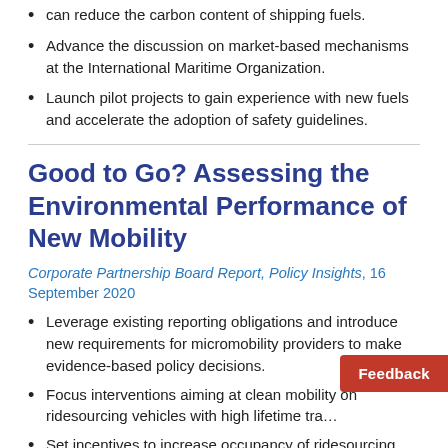can reduce the carbon content of shipping fuels.
Advance the discussion on market-based mechanisms at the International Maritime Organization.
Launch pilot projects to gain experience with new fuels and accelerate the adoption of safety guidelines.
Good to Go? Assessing the Environmental Performance of New Mobility
Corporate Partnership Board Report, Policy Insights, 16 September 2020
Leverage existing reporting obligations and introduce new requirements for micromobility providers to make evidence-based policy decisions.
Focus interventions aiming at clean mobility on ridesourcing vehicles with high lifetime tra…
Set incentives to increase occupancy of ridesourcing vehicles.
Standardise methodologies for the evaluation of shared micromobility's life-cycle emissions and introduce